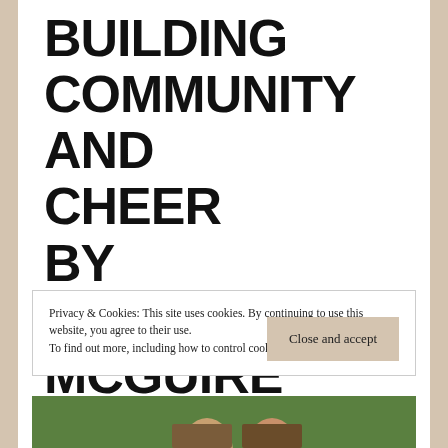BUILDING COMMUNITY AND CHEER BY ELIZABETH MCGUIRE
Privacy & Cookies: This site uses cookies. By continuing to use this website, you agree to their use.
To find out more, including how to control cookies, see here: Cookie Policy
Close and accept
[Figure (photo): Bottom strip showing partial photo of people smiling outdoors on grass]